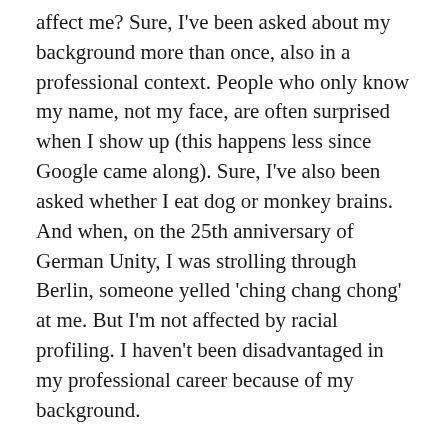affect me? Sure, I've been asked about my background more than once, also in a professional context. People who only know my name, not my face, are often surprised when I show up (this happens less since Google came along). Sure, I've also been asked whether I eat dog or monkey brains. And when, on the 25th anniversary of German Unity, I was strolling through Berlin, someone yelled 'ching chang chong' at me. But I'm not affected by racial profiling. I haven't been disadvantaged in my professional career because of my background.
In the US, there has been a debate on racism in academia over the past weeks, in addition to the broader debate on structural racism. Many Black researchers have posted about their experience under the hashtag #BlackInTheIvory: experiences of how they are rarely identified as academics, but rather as